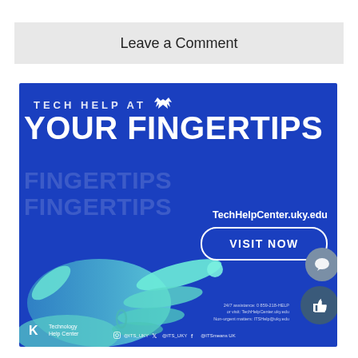Leave a Comment
[Figure (infographic): University of Kentucky ITS Technology Help Center advertisement on blue background. Top text reads 'TECH HELP AT' with UK wildcat logo, then large text 'YOUR FINGERTIPS'. Shows URL TechHelpCenter.uky.edu with a VISIT NOW button. Features a hand illustration in teal/cyan. Bottom shows UK Technology Help Center logo and social media handles @ITS_UKY on Instagram, Twitter, Facebook. Small print: 24/7 assistance 0 859-218-HELP or visit TechHelpCenter.uky.edu, Non-urgent matters: ITSHelp@uky.edu]